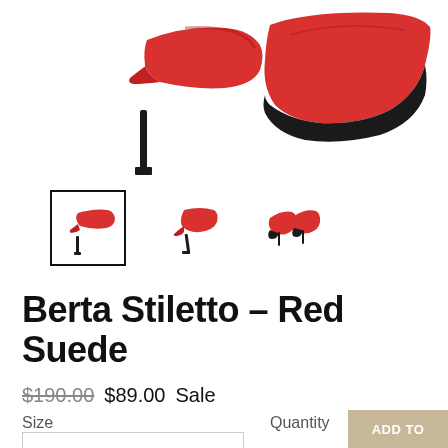[Figure (photo): Main product image showing red suede stiletto heels from side and back angle on white background]
[Figure (photo): Three thumbnail images of red suede stiletto heels: side view (selected with border), angled view, back/pair view]
Berta Stiletto – Red Suede
$190.00  $89.00 Sale
Size
Quantity
ADD TO